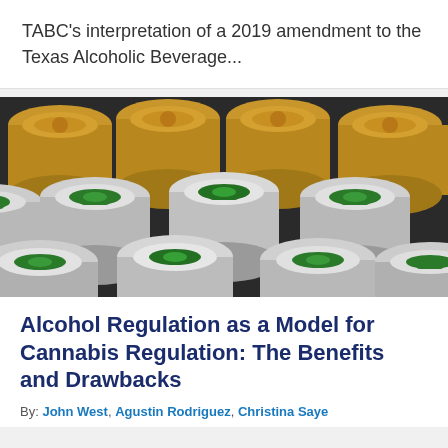TABC's interpretation of a 2019 amendment to the Texas Alcoholic Beverage...
[Figure (photo): Top-down view of multiple aluminum beverage cans - some gold-colored on top row, silver cans with green pull-tabs filling the rest of the image]
Alcohol Regulation as a Model for Cannabis Regulation: The Benefits and Drawbacks
By: John West, Agustin Rodriguez, Christina Saye